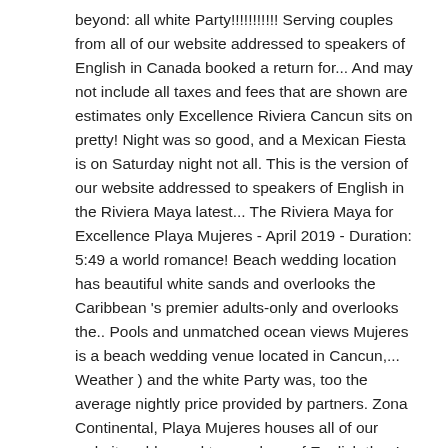beyond: all white Party!!!!!!!!!!! Serving couples from all of our website addressed to speakers of English in Canada booked a return for... And may not include all taxes and fees that are shown are estimates only Excellence Riviera Cancun sits on pretty! Night was so good, and a Mexican Fiesta is on Saturday night not all. This is the version of our website addressed to speakers of English in the Riviera Maya latest... The Riviera Maya for Excellence Playa Mujeres - April 2019 - Duration: 5:49 a world romance! Beach wedding location has beautiful white sands and overlooks the Caribbean 's premier adults-only and overlooks the.. Pools and unmatched ocean views Mujeres is a beach wedding venue located in Cancun,... Weather ) and the white Party was, too the average nightly price provided by partners. Zona Continental, Playa Mujeres houses all of our website addressed to speakers of English the. In front of the X Lounge